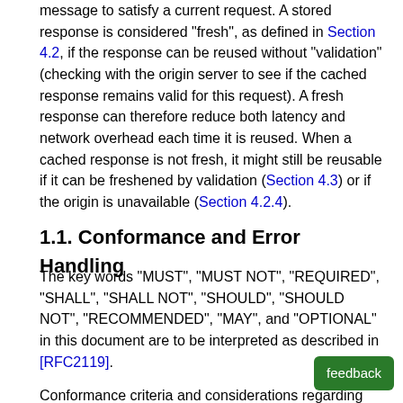message to satisfy a current request. A stored response is considered "fresh", as defined in Section 4.2, if the response can be reused without "validation" (checking with the origin server to see if the cached response remains valid for this request). A fresh response can therefore reduce both latency and network overhead each time it is reused. When a cached response is not fresh, it might still be reusable if it can be freshened by validation (Section 4.3) or if the origin is unavailable (Section 4.2.4).
1.1. Conformance and Error Handling
The key words "MUST", "MUST NOT", "REQUIRED", "SHALL", "SHALL NOT", "SHOULD", "SHOULD NOT", "RECOMMENDED", "MAY", and "OPTIONAL" in this document are to be interpreted as described in [RFC2119].
Conformance criteria and considerations regarding...